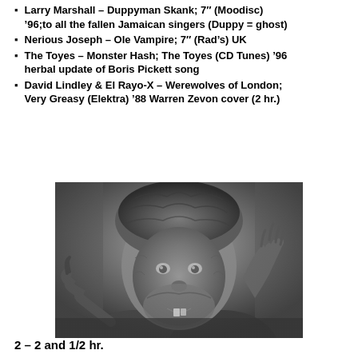Larry Marshall – Duppyman Skank; 7" (Moodisc) '96;to all the fallen Jamaican singers (Duppy = ghost)
Nerious Joseph – Ole Vampire; 7" (Rad's) UK
The Toyes – Monster Hash; The Toyes (CD Tunes) '96 herbal update of Boris Pickett song
David Lindley & El Rayo-X – Werewolves of London; Very Greasy (Elektra) '88 Warren Zevon cover (2 hr.)
[Figure (photo): Black and white photo of a werewolf character with hairy face, clawed hand raised, wearing a fur hat, teeth bared]
2 – 2 and 1/2 hr.